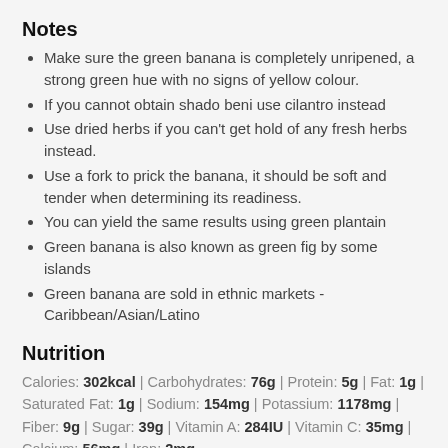Notes
Make sure the green banana is completely unripened, a strong green hue with no signs of yellow colour.
If you cannot obtain shado beni use cilantro instead
Use dried herbs if you can't get hold of any fresh herbs instead.
Use a fork to prick the banana, it should be soft and tender when determining its readiness.
You can yield the same results using green plantain
Green banana is also known as green fig by some islands
Green banana are sold in ethnic markets - Caribbean/Asian/Latino
Nutrition
Calories: 302kcal | Carbohydrates: 76g | Protein: 5g | Fat: 1g | Saturated Fat: 1g | Sodium: 154mg | Potassium: 1178mg | Fiber: 9g | Sugar: 39g | Vitamin A: 284IU | Vitamin C: 35mg | Calcium: 56mg | Iron: 2mg